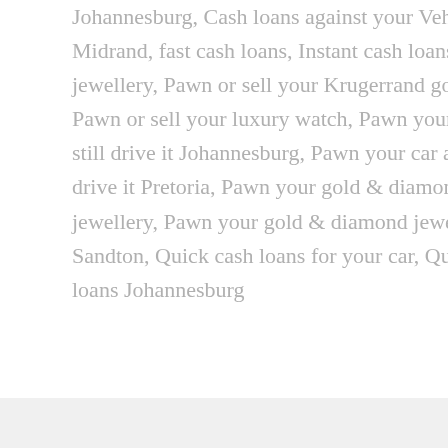Johannesburg, Cash loans against your Vehicle Midrand, fast cash loans, Instant cash loans for gold jewellery, Pawn or sell your Krugerrand gold coins, Pawn or sell your luxury watch, Pawn your car and still drive it Johannesburg, Pawn your car and still drive it Pretoria, Pawn your gold & diamond jewellery, Pawn your gold & diamond jewellery Sandton, Quick cash loans for your car, Quick cash loans Johannesburg